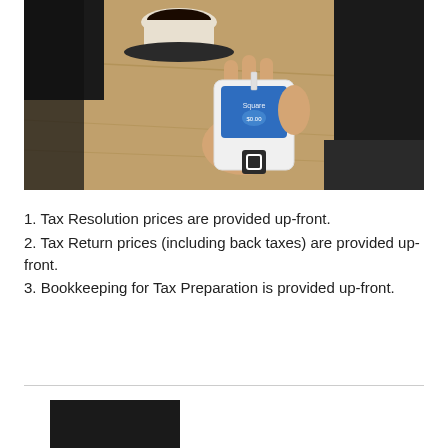[Figure (photo): Overhead view of a person holding a Square card reader device with a blue screen, sitting at a wooden table with a coffee cup in the background]
1. Tax Resolution prices are provided up-front.
2. Tax Return prices (including back taxes) are provided up-front.
3. Bookkeeping for Tax Preparation is provided up-front.
[Figure (photo): Partial dark/black image at bottom of page, cropped]